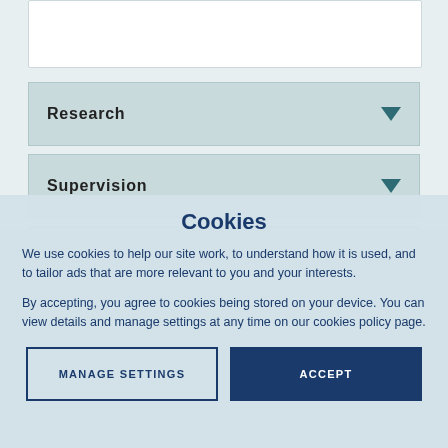Research
Supervision
Teaching
Publications
Cookies
We use cookies to help our site work, to understand how it is used, and to tailor ads that are more relevant to you and your interests.
By accepting, you agree to cookies being stored on your device. You can view details and manage settings at any time on our cookies policy page.